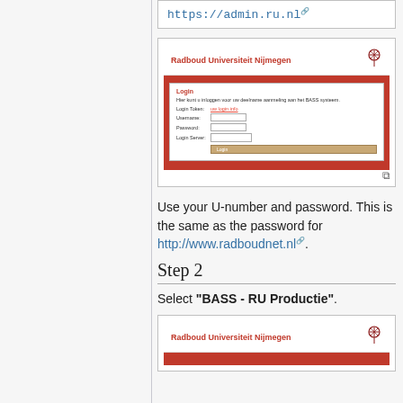https://admin.ru.nl
[Figure (screenshot): Screenshot of Radboud Universiteit Nijmegen login page with red background, login form fields for Username, Password, Login Server, and a Login button.]
Use your U-number and password. This is the same as the password for http://www.radboudnet.nl.
Step 2
Select "BASS - RU Productie".
[Figure (screenshot): Partial screenshot of Radboud Universiteit Nijmegen login page showing the header and beginning of the red area.]